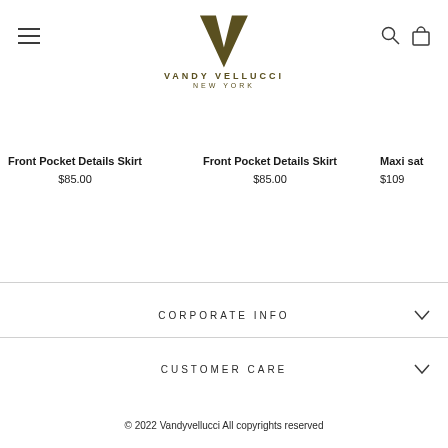[Figure (logo): Vandy Vellucci New York logo with stylized V lettermark in olive/dark gold color]
Front Pocket Details Skirt
$85.00
Front Pocket Details Skirt
$85.00
Maxi sat...
$109...
CORPORATE INFO
CUSTOMER CARE
© 2022 Vandyvellucci All copyrights reserved